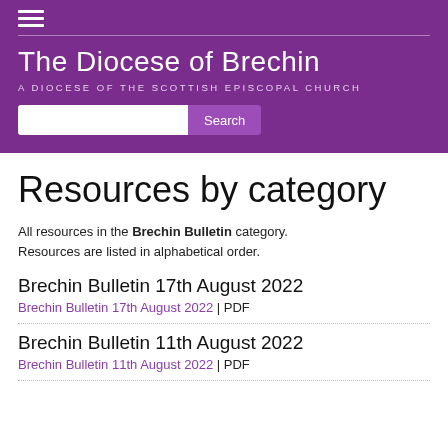The Diocese of Brechin — A DIOCESE OF THE SCOTTISH EPISCOPAL CHURCH
Resources by category
All resources in the Brechin Bulletin category. Resources are listed in alphabetical order.
Brechin Bulletin 17th August 2022
Brechin Bulletin 17th August 2022 | PDF
Brechin Bulletin 11th August 2022
Brechin Bulletin 11th August 2022 | PDF